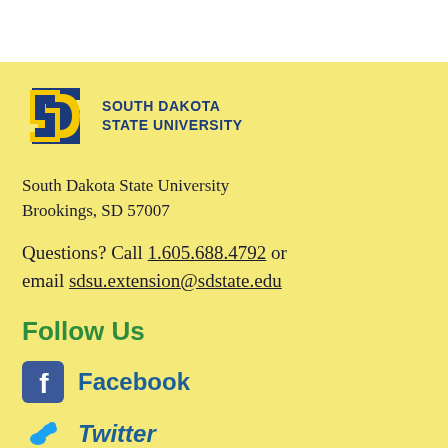[Figure (logo): South Dakota State University logo with interlocking SD letters in gold and blue, with text 'South Dakota State University' in navy blue]
South Dakota State University
Brookings, SD 57007
Questions? Call 1.605.688.4792 or email sdsu.extension@sdstate.edu
Follow Us
Facebook
Twitter